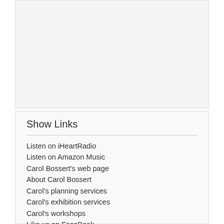[Figure (other): Empty white/grey placeholder box at top of page]
Show Links
Listen on iHeartRadio
Listen on Amazon Music
Carol Bossert's web page
About Carol Bossert
Carol's planning services
Carol's exhibition services
Carol's workshops
Like us on FaceBook
Carol's blog
Connect on LinkedIn